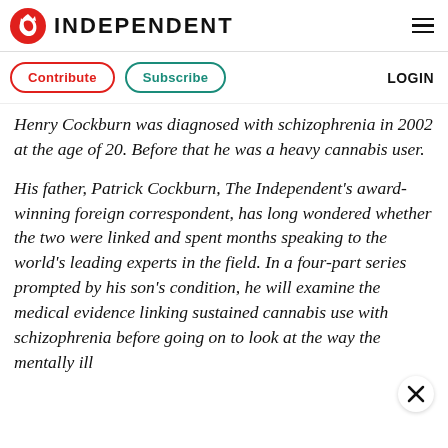INDEPENDENT
Contribute   Subscribe   LOGIN
Henry Cockburn was diagnosed with schizophrenia in 2002 at the age of 20. Before that he was a heavy cannabis user.
His father, Patrick Cockburn, The Independent's award-winning foreign correspondent, has long wondered whether the two were linked and spent months speaking to the world's leading experts in the field. In a four-part series prompted by his son's condition, he will examine the medical evidence linking sustained cannabis use with schizophrenia before going on to look at the way the mentally ill